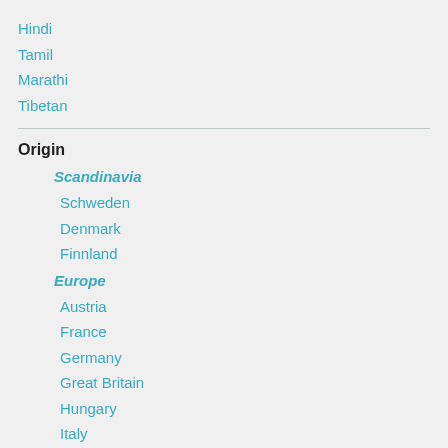Hindi
Tamil
Marathi
Tibetan
Origin
Scandinavia
Schweden
Denmark
Finnland
Europe
Austria
France
Germany
Great Britain
Hungary
Italy
Poland
Portugal